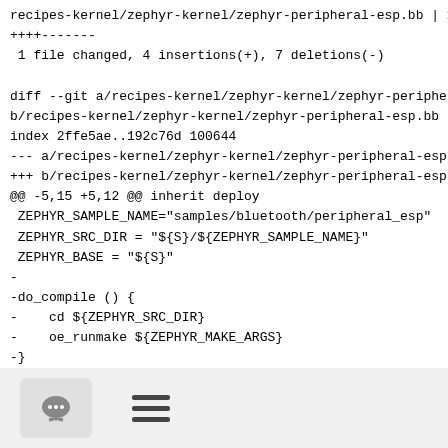recipes-kernel/zephyr-kernel/zephyr-peripheral-esp.bb | 11
++++-------
 1 file changed, 4 insertions(+), 7 deletions(-)

diff --git a/recipes-kernel/zephyr-kernel/zephyr-peripheral-esp.bb
b/recipes-kernel/zephyr-kernel/zephyr-peripheral-esp.bb
index 2ffe5ae..192c76d 100644
--- a/recipes-kernel/zephyr-kernel/zephyr-peripheral-esp.bb
+++ b/recipes-kernel/zephyr-kernel/zephyr-peripheral-esp.bb
@@ -5,15 +5,12 @@ inherit deploy
 ZEPHYR_SAMPLE_NAME="samples/bluetooth/peripheral_esp"
 ZEPHYR_SRC_DIR = "${S}/${ZEPHYR_SAMPLE_NAME}"
 ZEPHYR_BASE = "${S}"
-
-do_compile () {
-    cd ${ZEPHYR_SRC_DIR}
-    oe_runmake ${ZEPHYR_MAKE_ARGS}
-}
+OECMAKE_SOURCEPATH = "${ZEPHYR_SRC_DIR}"
+EXTRA_OECMAKE_append = "\:${S}/modules/crypto/tinycrypt"
[Figure (other): Footer bar with chat bubble button icon and hamburger menu icon]